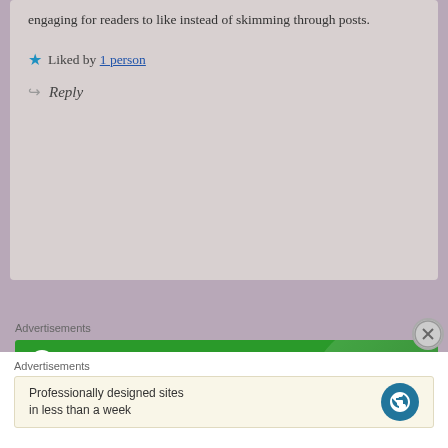engaging for readers to like instead of skimming through posts.
★ Liked by 1 person
↩ Reply
Advertisements
[Figure (screenshot): Jetpack plugin advertisement banner on green background with white text: 'The best real-time WordPress backup plugin']
Advertisements
[Figure (screenshot): WordPress.com advertisement: 'Professionally designed sites in less than a week' with WordPress logo]